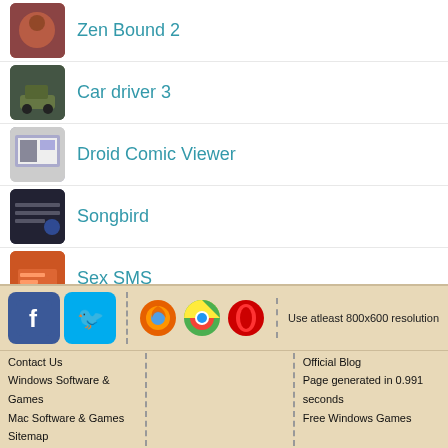Zen Bound 2
Car driver 3
Droid Comic Viewer
Songbird
Sex SMS
Play by Yahoo Music
Big Fart Button
Snowboarding
Contact Us | Use atleast 800x600 resolution | Windows Software & Games | Official Blog | Mac Software & Games | Page generated in 0.991 seconds | Sitemap | Free Windows Games